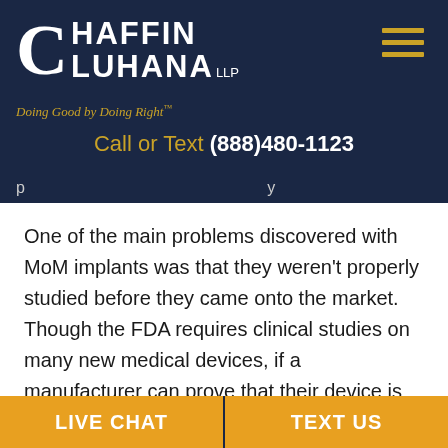[Figure (logo): Chaffin Luhana LLP law firm logo with stylized CL letters and tagline 'Doing Good by Doing Right']
Call or Text (888)480-1123
p...y
One of the main problems discovered with MoM implants was that they weren't properly studied before they came onto the market. Though the FDA requires clinical studies on many new medical devices, if a manufacturer can prove that their device is substantially similar to one already on the
LIVE CHAT | TEXT US